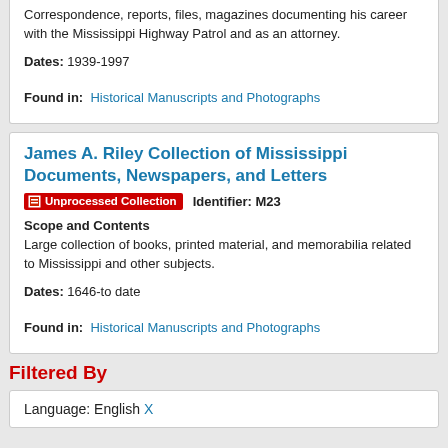Correspondence, reports, files, magazines documenting his career with the Mississippi Highway Patrol and as an attorney.
Dates: 1939-1997
Found in: Historical Manuscripts and Photographs
James A. Riley Collection of Mississippi Documents, Newspapers, and Letters
Unprocessed Collection   Identifier: M23
Scope and Contents
Large collection of books, printed material, and memorabilia related to Mississippi and other subjects.
Dates: 1646-to date
Found in: Historical Manuscripts and Photographs
Filtered By
Language: English X